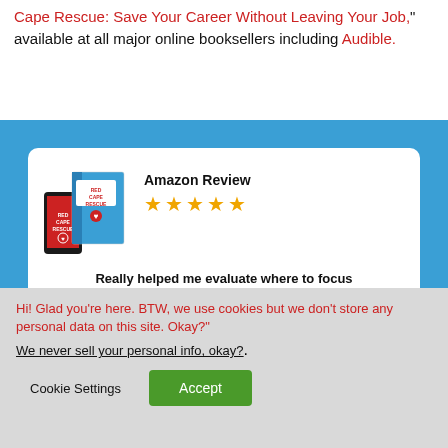Cape Rescue: Save Your Career Without Leaving Your Job," available at all major online booksellers including Audible.
[Figure (illustration): Amazon Review card showing the Red Cape Rescue book cover alongside a phone mockup, 5 gold stars, the review quote 'Really helped me evaluate where to focus my time at work', and reviewer name Kathryn Grund, displayed on a blue background with white rounded card.]
Hi! Glad you're here. BTW, we use cookies but we don't store any personal data on this site. Okay?"
We never sell your personal info, okay?.